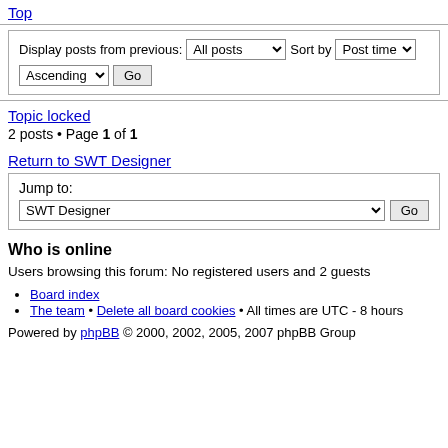Top
Display posts from previous: All posts  Sort by Post time  Ascending  Go
Topic locked
2 posts • Page 1 of 1
Return to SWT Designer
Jump to: SWT Designer  Go
Who is online
Users browsing this forum: No registered users and 2 guests
Board index
The team • Delete all board cookies • All times are UTC - 8 hours
Powered by phpBB © 2000, 2002, 2005, 2007 phpBB Group